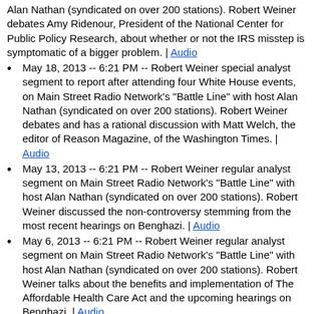Alan Nathan (syndicated on over 200 stations). Robert Weiner debates Amy Ridenour, President of the National Center for Public Policy Research, about whether or not the IRS misstep is symptomatic of a bigger problem. | Audio
May 18, 2013 -- 6:21 PM -- Robert Weiner special analyst segment to report after attending four White House events, on Main Street Radio Network's "Battle Line" with host Alan Nathan (syndicated on over 200 stations). Robert Weiner debates and has a rational discussion with Matt Welch, the editor of Reason Magazine, of the Washington Times. | Audio
May 13, 2013 -- 6:21 PM -- Robert Weiner regular analyst segment on Main Street Radio Network's "Battle Line" with host Alan Nathan (syndicated on over 200 stations). Robert Weiner discussed the non-controversy stemming from the most recent hearings on Benghazi. | Audio
May 6, 2013 -- 6:21 PM -- Robert Weiner regular analyst segment on Main Street Radio Network's "Battle Line" with host Alan Nathan (syndicated on over 200 stations). Robert Weiner talks about the benefits and implementation of The Affordable Health Care Act and the upcoming hearings on Benghazi. | Audio
April 29, 2013 -- 6:21 PM -- Robert Weiner regular analyst segment on Main Street Radio Network's "Battle Line" with host Alan Nathan (syndicated on over 200 stations). Robert Weiner continues to explain the real world consequences of the Sequester. | Audio
April 21, 2013 -- 6:21 PM -- Robert Weiner regular analyst